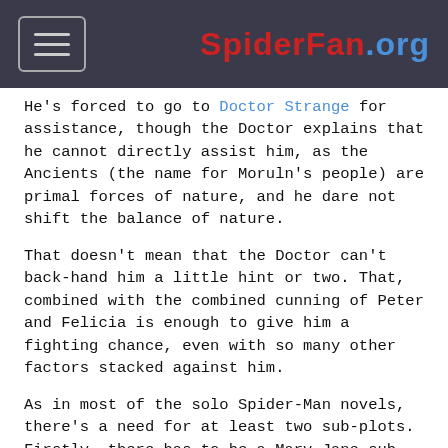SpiderFan.org
He's forced to go to Doctor Strange for assistance, though the Doctor explains that he cannot directly assist him, as the Ancients (the name for Moruln's people) are primal forces of nature, and he dare not shift the balance of nature.
That doesn't mean that the Doctor can't back-hand him a little hint or two. That, combined with the combined cunning of Peter and Felicia is enough to give him a fighting chance, even with so many other factors stacked against him.
As in most of the solo Spider-Man novels, there's a need for at least two sub-plots. Firstly, there has to be a Mary-Jane sub-plot, and secondly there needs to be a Spider-Man at work (in this case, school-teacher) sub-plot. The MJ sub-plot involves her getting an acting job (as Lady